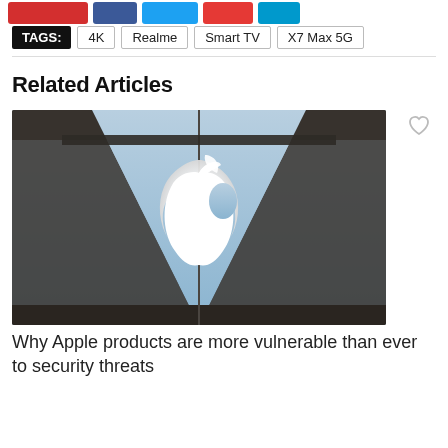[Figure (infographic): Row of social share buttons: red, dark blue, cyan/twitter, red, light blue]
TAGS:  4K  Realme  Smart TV  X7 Max 5G
Related Articles
[Figure (photo): Apple logo illuminated in white on glass building facade with dark structural beams, blue sky background]
Why Apple products are more vulnerable than ever to security threats